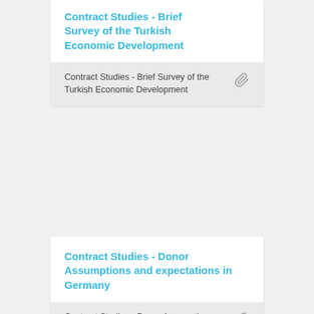Contract Studies - Brief Survey of the Turkish Economic Development
Contract Studies - Brief Survey of the Turkish Economic Development
Contract Studies - Donor Assumptions and expectations in Germany
Contract Studies - Donor Assumptions and expectations in Germany
Contract Studies - Aid Philosophy and Mechanisms - Japan
Contract Studies - Aid Philosophy and Mechanisms